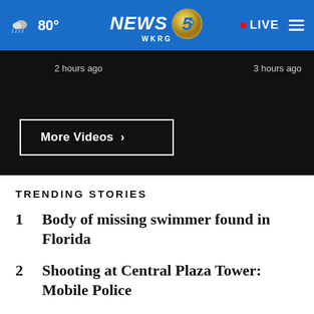NEWS 5 WKRG — 80° — LIVE
2 hours ago   3 hours ago
More Videos ›
TRENDING STORIES
1  Body of missing swimmer found in Florida
2  Shooting at Central Plaza Tower: Mobile Police
3  Georgia suspects found with over 2k pounds of meth ...